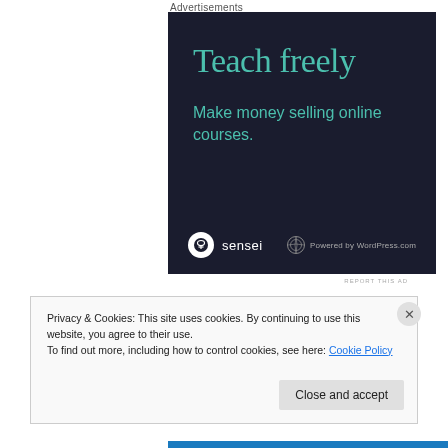Advertisements
[Figure (illustration): Dark navy advertisement banner for Sensei/WordPress.com showing 'Teach freely' headline in teal and 'Make money selling online courses.' subtitle, with Sensei logo and 'Powered by WordPress.com' at bottom]
REPORT THIS AD
Privacy & Cookies: This site uses cookies. By continuing to use this website, you agree to their use.
To find out more, including how to control cookies, see here: Cookie Policy
Close and accept